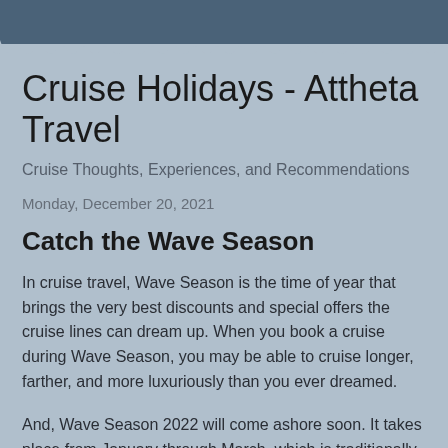Cruise Holidays - Attheta Travel
Cruise Thoughts, Experiences, and Recommendations
Monday, December 20, 2021
Catch the Wave Season
In cruise travel, Wave Season is the time of year that brings the very best discounts and special offers the cruise lines can dream up. When you book a cruise during Wave Season, you may be able to cruise longer, farther, and more luxuriously than you ever dreamed.
And, Wave Season 2022 will come ashore soon. It takes place from January through March, which is traditionally the...